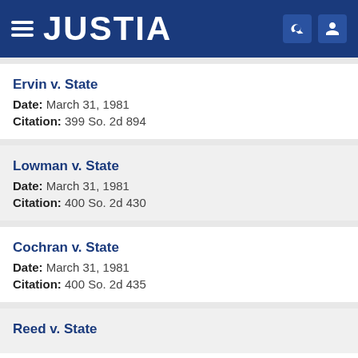JUSTIA
Ervin v. State
Date: March 31, 1981
Citation: 399 So. 2d 894
Lowman v. State
Date: March 31, 1981
Citation: 400 So. 2d 430
Cochran v. State
Date: March 31, 1981
Citation: 400 So. 2d 435
Reed v. State